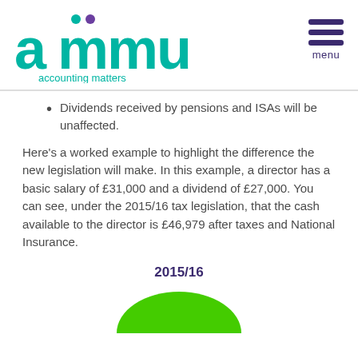[Figure (logo): ammu accounting matters logo in teal/green with purple dot accent]
Dividends received by pensions and ISAs will be unaffected.
Here’s a worked example to highlight the difference the new legislation will make. In this example, a director has a basic salary of £31,000 and a dividend of £27,000. You can see, under the 2015/16 tax legislation, that the cash available to the director is £46,979 after taxes and National Insurance.
2015/16
[Figure (other): Partial view of a green pie/donut chart at bottom of page]